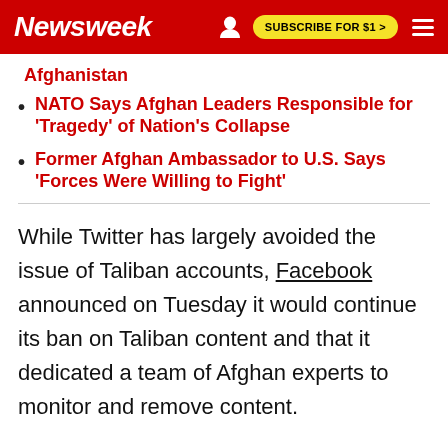Newsweek   SUBSCRIBE FOR $1 >
Afghanistan
NATO Says Afghan Leaders Responsible for 'Tragedy' of Nation's Collapse
Former Afghan Ambassador to U.S. Says 'Forces Were Willing to Fight'
While Twitter has largely avoided the issue of Taliban accounts, Facebook announced on Tuesday it would continue its ban on Taliban content and that it dedicated a team of Afghan experts to monitor and remove content.